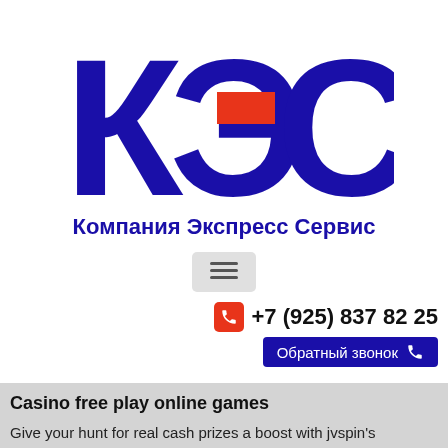[Figure (logo): КЭС logo — large Cyrillic letters К, Э, С in dark blue with a red rectangle accent on the Э letter]
Компания Экспресс Сервис
[Figure (other): Hamburger menu button (three horizontal lines) on a light gray rounded rectangle background]
+7 (925) 837 82 25
Обратный звонок
Casino free play online games
Give your hunt for real cash prizes a boost with jvspin's welcome bonus of a. Now, numerous administrators have understood that